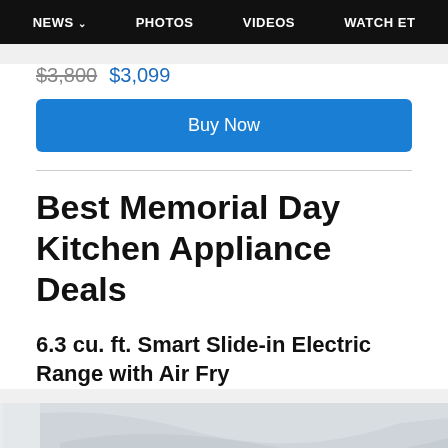NEWS  PHOTOS  VIDEOS  WATCH ET
$3,800 $3,099
Buy Now
Best Memorial Day Kitchen Appliance Deals
6.3 cu. ft. Smart Slide-in Electric Range with Air Fry
[Figure (photo): Partial view of a kitchen appliance, light grey/white surface]